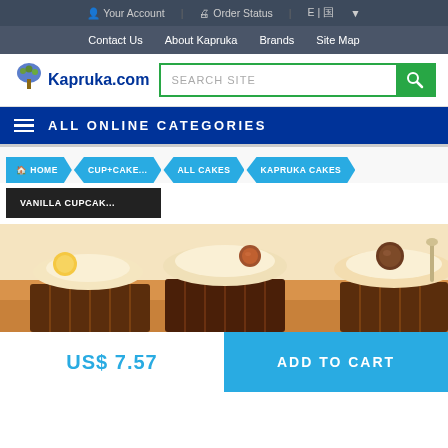Your Account | Order Status | E | [language icon]
Contact Us | About Kapruka | Brands | Site Map
[Figure (logo): Kapruka.com logo with tree icon]
SEARCH SITE
ALL ONLINE CATEGORIES
HOME > CUP+CAKE... > ALL CAKES > KAPRUKA CAKES
VANILLA CUPCAK...
[Figure (photo): Close-up photo of chocolate cupcakes with cream frosting and candy toppings]
US$ 7.57
ADD TO CART